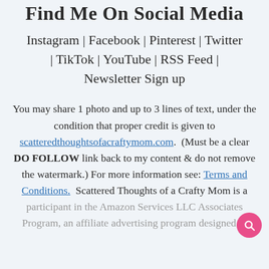Find Me On Social Media
Instagram | Facebook | Pinterest | Twitter | TikTok | YouTube | RSS Feed | Newsletter Sign up
You may share 1 photo and up to 3 lines of text, under the condition that proper credit is given to scatteredthoughtsofacraftymom.com. (Must be a clear DO FOLLOW link back to my content & do not remove the watermark.) For more information see: Terms and Conditions. Scattered Thoughts of a Crafty Mom is a participant in the Amazon Services LLC Associates Program, an affiliate advertising program designed to